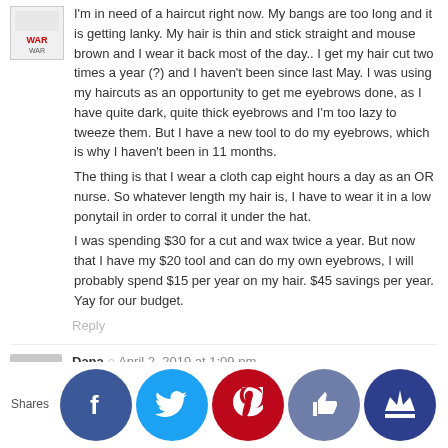I'm in need of a haircut right now. My bangs are too long and it is getting lanky. My hair is thin and stick straight and mouse brown and I wear it back most of the day.. I get my hair cut two times a year (?) and I haven't been since last May. I was using my haircuts as an opportunity to get me eyebrows done, as I have quite dark, quite thick eyebrows and I'm too lazy to tweeze them. But I have a new tool to do my eyebrows, which is why I haven't been in 11 months.
The thing is that I wear a cloth cap eight hours a day as an OR nurse. So whatever length my hair is, I have to wear it in a low ponytail in order to corral it under the hat.
I was spending $30 for a cut and wax twice a year. But now that I have my $20 tool and can do my own eyebrows, I will probably spend $15 per year on my hair. $45 savings per year. Yay for our budget.
Reply
Dana  ·  April 2, 2019 at 1:09 pm
Your hair looks great. Congrats!
I've been buzzing my hair myself for the past four